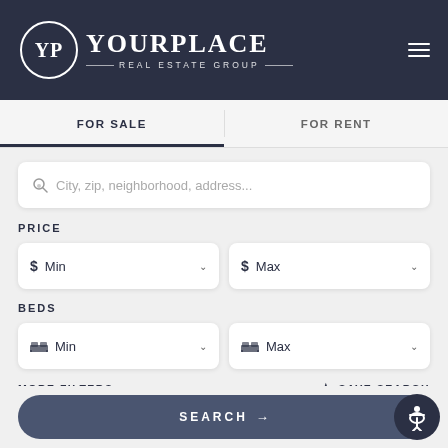[Figure (logo): YourPlace Real Estate Group logo with circular YP emblem on dark navy background]
FOR SALE
FOR RENT
City, zip, neighborhood, address...
PRICE
$ Min
$ Max
BEDS
Min
Max
MORE FILTERS
SAVE SEARCH
SEARCH →